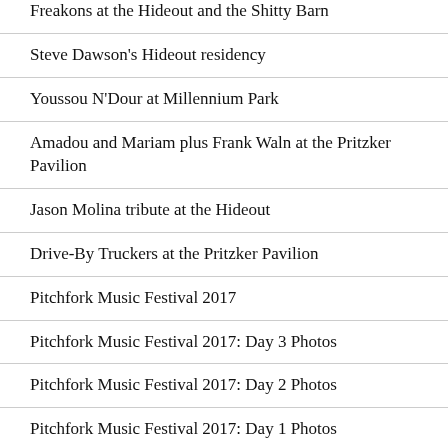Freakons at the Hideout and the Shitty Barn
Steve Dawson's Hideout residency
Youssou N'Dour at Millennium Park
Amadou and Mariam plus Frank Waln at the Pritzker Pavilion
Jason Molina tribute at the Hideout
Drive-By Truckers at the Pritzker Pavilion
Pitchfork Music Festival 2017
Pitchfork Music Festival 2017: Day 3 Photos
Pitchfork Music Festival 2017: Day 2 Photos
Pitchfork Music Festival 2017: Day 1 Photos
Solid Sound Festival 2017